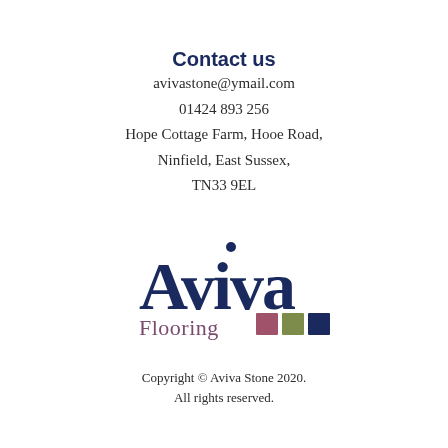Contact us
avivastone@ymail.com
01424 893 256
Hope Cottage Farm, Hooe Road,
Ninfield, East Sussex,
TN33 9EL
[Figure (logo): Aviva Flooring logo with large stylized 'Aviva' text in dark navy blue, 'Flooring' in mauve/purple below, and three colored squares (mauve, olive green, navy blue) to the right of 'Flooring']
Copyright © Aviva Stone 2020.
All rights reserved.